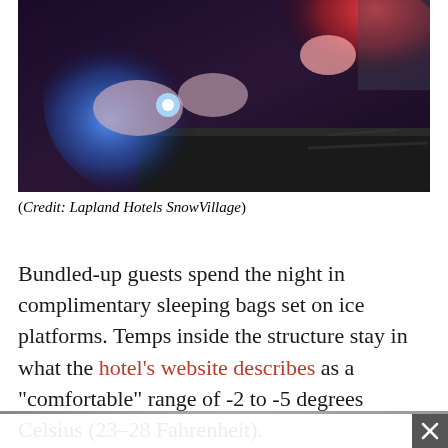[Figure (photo): A person in gloves handling illuminated blue and red light sources in a dark room, with a dark platform/bed visible below.]
(Credit: Lapland Hotels SnowVillage)
Bundled-up guests spend the night in complimentary sleeping bags set on ice platforms. Temps inside the structure stay in what the hotel's website describes as a "comfortable" range of -2 to -5 degrees Celsius (23–28 Fahrenheit).